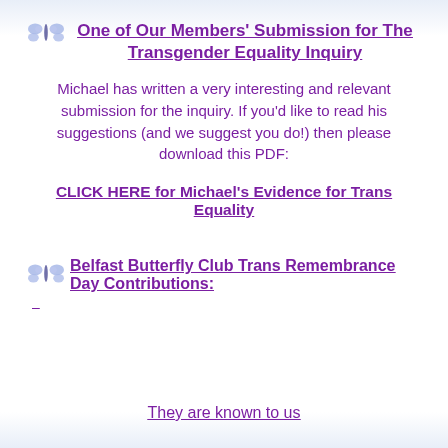One of Our Members' Submission for The Transgender Equality Inquiry
Michael has written a very interesting and relevant submission for the inquiry. If you'd like to read his suggestions (and we suggest you do!) then please download this PDF:
CLICK HERE for Michael's Evidence for Trans Equality
Belfast Butterfly Club Trans Remembrance Day Contributions:
–
They are known to us